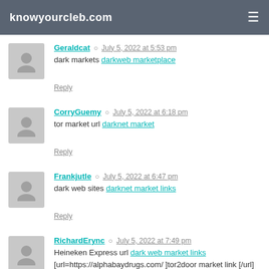knowyourcleb.com
Geraldcat · July 5, 2022 at 5:53 pm · dark markets darkweb marketplace · Reply
CorryGuemy · July 5, 2022 at 6:18 pm · tor market url darknet market · Reply
Frankjutle · July 5, 2022 at 6:47 pm · dark web sites darknet market links · Reply
RichardErync · July 5, 2022 at 7:49 pm · Heineken Express url dark web market links · [url=https://alphabaydrugs.com/ ]tor2door market link [/url] · Reply